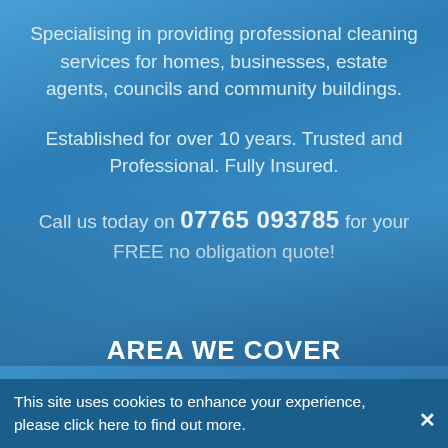Specialising in providing professional cleaning services for homes, businesses, estate agents, councils and community buildings.
Established for over 10 years. Trusted and Professional. Fully Insured.
Call us today on 07765 093785 for your FREE no obligation quote!
AREA WE COVER
This site uses cookies to enhance your experience, please click here to find out more.